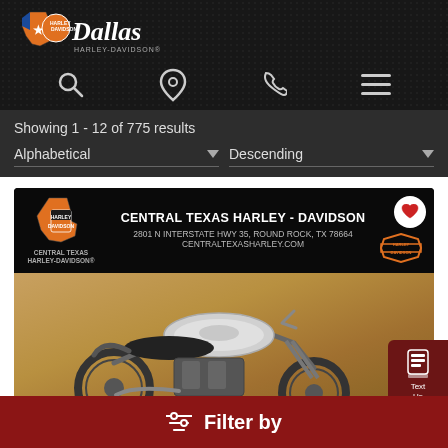[Figure (logo): Dallas Harley-Davidson logo with Texas state shape in orange/blue and star]
[Figure (infographic): Navigation bar with search, location pin, phone, and menu icons]
Showing 1 - 12 of 775 results
Alphabetical
Descending
[Figure (infographic): Central Texas Harley-Davidson dealer banner with logo, address: 2801 N INTERSTATE HWY 35, ROUND ROCK, TX 78664, website: CENTRALTEXASHARLEY.COM, Harley-Davidson bar and shield badge, and heart favorite button]
[Figure (photo): Harley-Davidson motorcycle (Sportster/Iron style) in silver/white color on golden-tan background]
[Figure (infographic): Side button panel with Text Us and Chat with Us options on dark red background]
Filter by